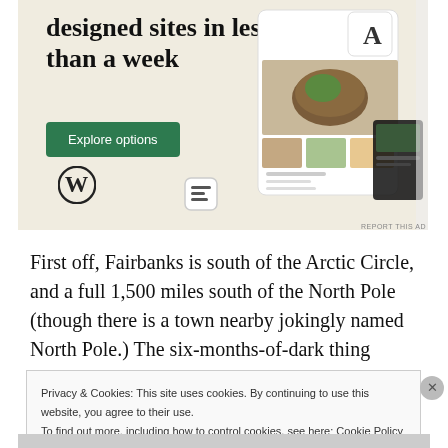[Figure (screenshot): WordPress advertisement banner showing 'designed sites in less than a week' with an Explore options button, WordPress logo, and mock website screenshots on a beige background.]
First off, Fairbanks is south of the Arctic Circle, and a full 1,500 miles south of the North Pole (though there is a town nearby jokingly named North Pole.) The six-months-of-dark thing
Privacy & Cookies: This site uses cookies. By continuing to use this website, you agree to their use.
To find out more, including how to control cookies, see here: Cookie Policy
Close and accept